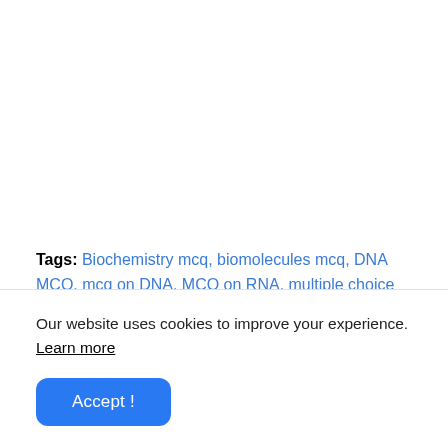Tags: Biochemistry mcq, biomolecules mcq, DNA MCQ, mcq on DNA, MCQ on RNA, multiple choice on DNA, multiple choice questions on DNA,
Our website uses cookies to improve your experience. Learn more
Accept !